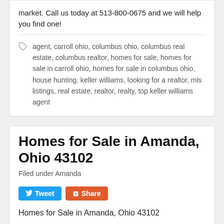market. Call us today at 513-800-0675 and we will help you find one!
agent, carroll ohio, columbus ohio, columbus real estate, columbus realtor, homes for sale, homes for sale in carroll ohio, homes for sale in columbus ohio, house hunting, keller williams, looking for a realtor, mls listings, real estate, realtor, realty, top keller williams agent
Homes for Sale in Amanda, Ohio 43102
Filed under Amanda
Homes for Sale in Amanda, Ohio 43102
There are currently no homes available on the mark… Call us today at 513-800-0675 and we will help you find